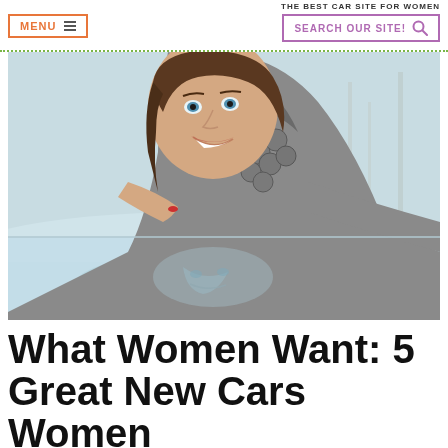THE BEST CAR SITE FOR WOMEN
[Figure (photo): Young woman smiling and leaning on a car roof, reflected in the car's surface, wearing a grey textured scarf/jacket, outdoors in a wintry setting]
What Women Want: 5 Great New Cars Women